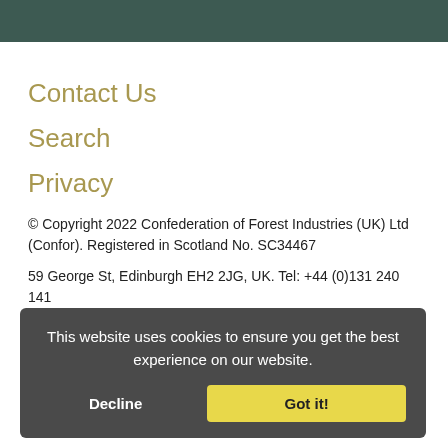Contact Us
Search
Privacy
© Copyright 2022 Confederation of Forest Industries (UK) Ltd (Confor). Registered in Scotland No. SC34467
59 George St, Edinburgh EH2 2JG, UK. Tel: +44 (0)131 240 141
Website design by Innovation Digital
This website uses cookies to ensure you get the best experience on our website.